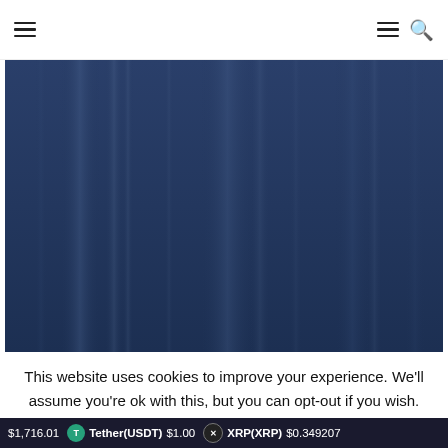Navigation bar with hamburger menu and search icon
[Figure (photo): Dark blue abstract background image with vertical light streaks/gradients on a navy blue background]
This website uses cookies to improve your experience. We'll assume you're ok with this, but you can opt-out if you wish.
$1,716.01  Tether(USDT) $1.00  XRP(XRP) $0.349207